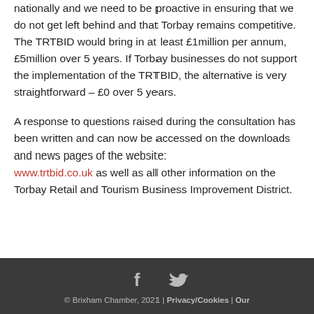nationally and we need to be proactive in ensuring that we do not get left behind and that Torbay remains competitive. The TRTBID would bring in at least £1million per annum, £5million over 5 years. If Torbay businesses do not support the implementation of the TRTBID, the alternative is very straightforward – £0 over 5 years.
A response to questions raised during the consultation has been written and can now be accessed on the downloads and news pages of the website: www.trtbid.co.uk as well as all other information on the Torbay Retail and Tourism Business Improvement District.
© Brixham Chamber, 2021 | Privacy/Cookies | Our